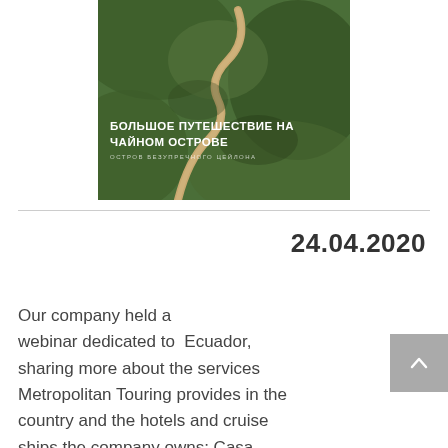[Figure (photo): Aerial or elevated photo of winding road through lush green tea plantation hills, with Russian text overlay reading 'БОЛЬШОЕ ПУТЕШЕСТВИЕ НА ЧАЙНОМ ОСТРОВЕ' and subtitle 'ОСТРОВ БЕЗУПРЕЧНОГО ЦЕЙЛОНА']
24.04.2020
Our company held a webinar dedicated to  Ecuador, sharing more about the services Metropolitan Touring provides in the country and the hotels and cruise ships the company owns: Casa Gangotena,  Mashpi  Lodge,  Finch Bay,  La  Pinta, Santa Cruz  II and Isabela  II